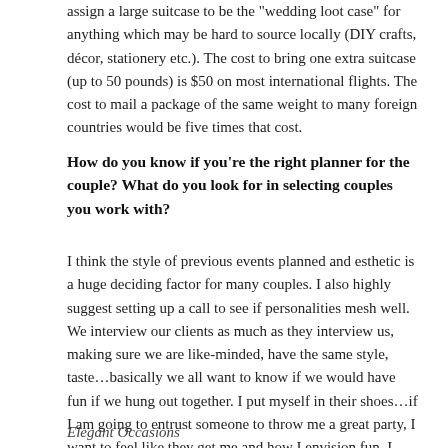assign a large suitcase to be the "wedding loot case" for anything which may be hard to source locally (DIY crafts, décor, stationery etc.). The cost to bring one extra suitcase (up to 50 pounds) is $50 on most international flights. The cost to mail a package of the same weight to many foreign countries would be five times that cost.
How do you know if you're the right planner for the couple? What do you look for in selecting couples you work with?
I think the style of previous events planned and esthetic is a huge deciding factor for many couples. I also highly suggest setting up a call to see if personalities mesh well. We interview our clients as much as they interview us, making sure we are like-minded, have the same style, taste…basically we all want to know if we would have fun if we hung out together. I put myself in their shoes…if I am going to entrust someone to throw me a great party, I want to feel like they get me and how I envision fun. I feel our clients need that and we want that connection for our clients.
Elegant Occasions